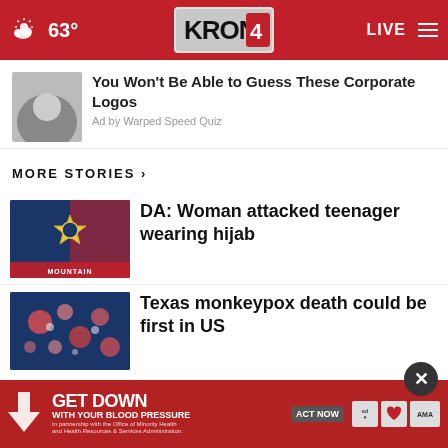63° KRON 4 LIVE
You Won't Be Able to Guess These Corporate Logos
Ad by Warped Speed Quiz
MORE STORIES ›
DA: Woman attacked teenager wearing hijab
Texas monkeypox death could be first in US
Can your student loan forgiveness be
Study: This is the rudest city in
GET DOWN WITH YOUR BLOOD PRESSURE — ACT NOW